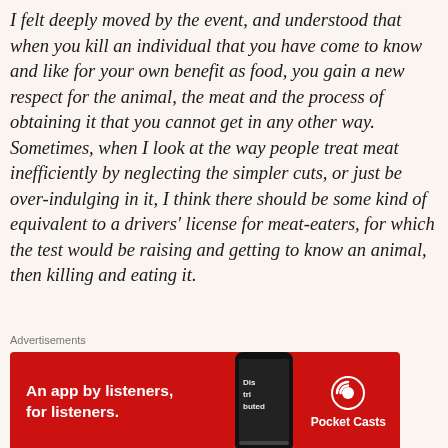I felt deeply moved by the event, and understood that when you kill an individual that you have come to know and like for your own benefit as food, you gain a new respect for the animal, the meat and the process of obtaining it that you cannot get in any other way. Sometimes, when I look at the way people treat meat inefficiently by neglecting the simpler cuts, or just be over-indulging in it, I think there should be some kind of equivalent to a drivers' license for meat-eaters, for which the test would be raising and getting to know an animal, then killing and eating it.
Advertisements
[Figure (other): Red banner advertisement for Pocket Casts app. Text reads: 'An app by listeners, for listeners.' with Pocket Casts logo on the right and a phone graphic in the center.]
REPORT THIS AD
...
Advertisements
[Figure (other): P2 advertisement with text: 'Getting your team on the same page is easy. And free.' with P2 logo on the left.]
REPORT THIS AD